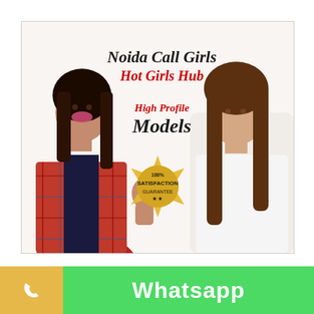[Figure (illustration): Advertisement banner for 'Noida Call Girls - Hot Girls Hub - High Profile Models' featuring two women, one in a red plaid shirt on the left and one in a white top on the right, with a 100% Satisfaction Guarantee badge in the center.]
Whatsapp